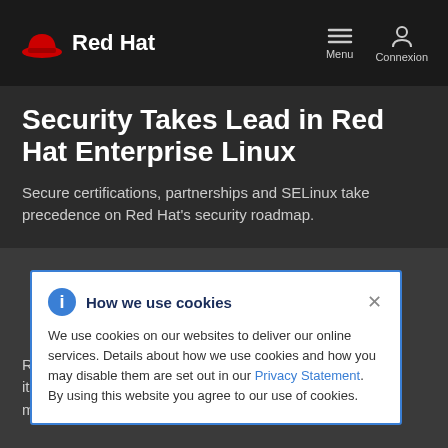Red Hat | Menu | Connexion
Security Takes Lead in Red Hat Enterprise Linux
Secure certifications, partnerships and SELinux take precedence on Red Hat's security roadmap.
How we use cookies
We use cookies on our websites to deliver our online services. Details about how we use cookies and how you may disable them are set out in our Privacy Statement. By using this website you agree to our use of cookies.
R... 004 – Since it... ux has achieved important milestones in security standards: